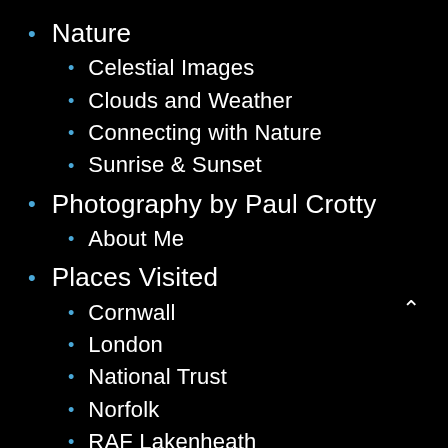Nature
Celestial Images
Clouds and Weather
Connecting with Nature
Sunrise & Sunset
Photography by Paul Crotty
About Me
Places Visited
Cornwall
London
National Trust
Norfolk
RAF Lakenheath
The Lake District